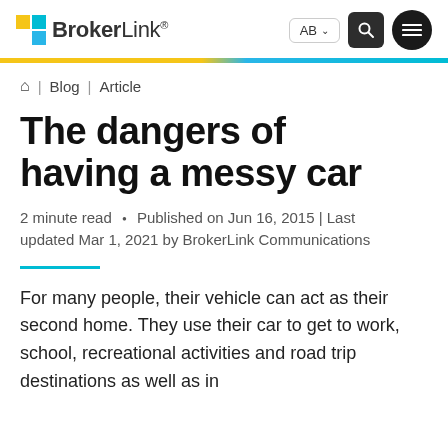BrokerLink — AB — navigation header
🏠 | Blog | Article
The dangers of having a messy car
2 minute read • Published on Jun 16, 2015 | Last updated Mar 1, 2021 by BrokerLink Communications
For many people, their vehicle can act as their second home. They use their car to get to work, school, recreational activities and road trip destinations as well as in